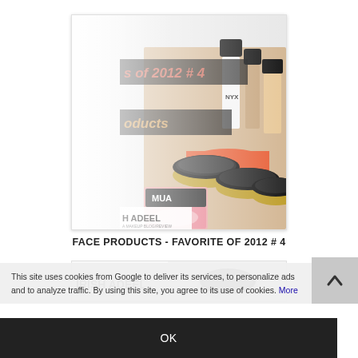[Figure (photo): A collection of makeup/cosmetic face products including powder compacts with black lids, a pink blush palette, NYX foundation bottles, and orange/coral powder products. Overlaid text on image reads 's of 2012 # 4' and 'oducts'. Bottom left corner shows 'H ADEEL' watermark.]
FACE PRODUCTS - FAVORITE OF 2012 # 4
[Figure (photo): Partial view of a second image showing 'IRISH ADEEL' logo/watermark on the left and a cosmetic compact product on the right.]
This site uses cookies from Google to deliver its services, to personalize ads and to analyze traffic. By using this site, you agree to its use of cookies. More
OK